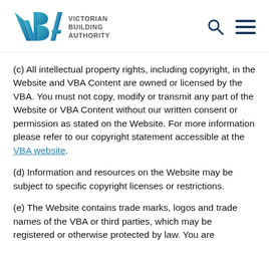VBA Victorian Building Authority
(c) All intellectual property rights, including copyright, in the Website and VBA Content are owned or licensed by the VBA. You must not copy, modify or transmit any part of the Website or VBA Content without our written consent or permission as stated on the Website. For more information please refer to our copyright statement accessible at the VBA website.
(d) Information and resources on the Website may be subject to specific copyright licenses or restrictions.
(e) The Website contains trade marks, logos and trade names of the VBA or third parties, which may be registered or otherwise protected by law. You are not permitted to use any trade marks, logos or trade names without our prior written consent.